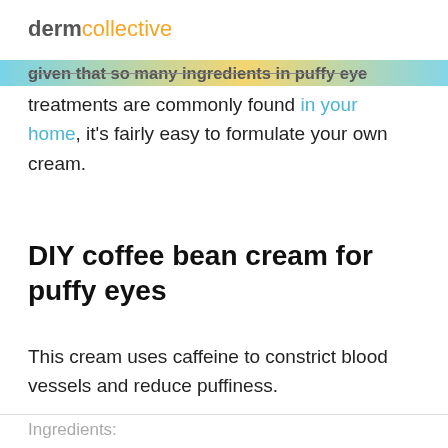dermcollective
given that so many ingredients in puffy eye treatments are commonly found in your home, it's fairly easy to formulate your own cream.
DIY coffee bean cream for puffy eyes
This cream uses caffeine to constrict blood vessels and reduce puffiness.
Ingredients: